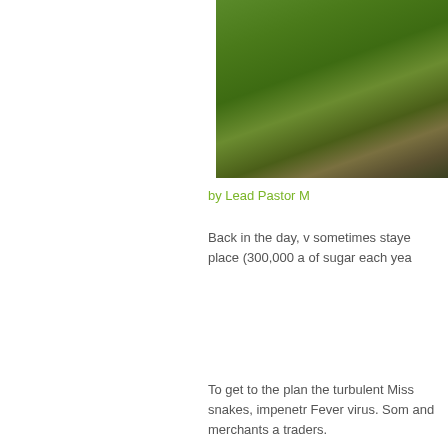[Figure (photo): Blurred outdoor photo with green grass and dark figures, partial view cut off on right side of page]
by Lead Pastor M
Back in the day, v sometimes staye place (300,000 a of sugar each yea
To get to the plan the turbulent Miss snakes, impenetr Fever virus. Som and merchants a traders.
Most visitors exp